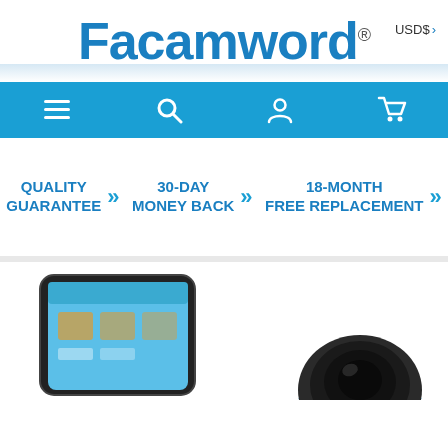Facamword®
USD$
[Figure (infographic): Blue navigation bar with menu, search, user, and cart icons]
QUALITY GUARANTEE >> 30-DAY MONEY BACK >> 18-MONTH FREE REPLACEMENT >>
[Figure (photo): Partial view of a smartphone showing a mobile app interface]
[Figure (photo): Partial view of a camera lens]